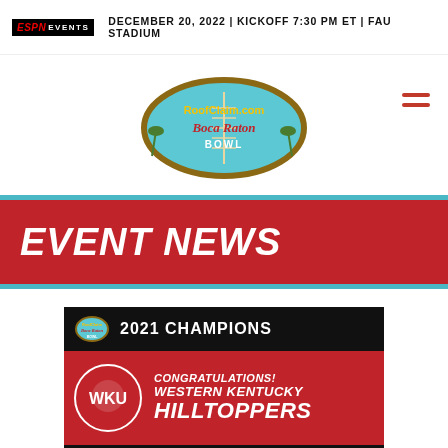ESPN EVENTS | DECEMBER 20, 2022 | KICKOFF 7:30 PM ET | FAU STADIUM
[Figure (logo): RoofClaim.com Boca Raton Bowl logo — football-shaped emblem with teal background, palm trees, and stylized text]
EVENT NEWS
[Figure (infographic): 2021 Champions banner: 'CONGRATULATIONS! WESTERN KENTUCKY HILLTOPPERS' with WKU logo and ESPN Events logo on red/black background]